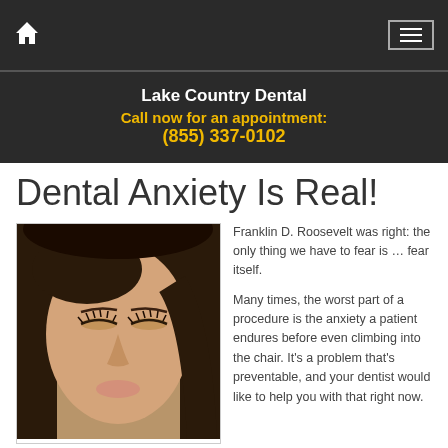Lake Country Dental — Call now for an appointment: (855) 337-0102
Dental Anxiety Is Real!
[Figure (photo): Close-up photo of a young woman with dark hair, eyes closed, looking downward]
Franklin D. Roosevelt was right: the only thing we have to fear is … fear itself.

Many times, the worst part of a procedure is the anxiety a patient endures before even climbing into the chair. It's a problem that's preventable, and your dentist would like to help you with that right now.
If you (or someone you care about) has an appointment that's beginning to darken your thoughts, try this: First focus on the